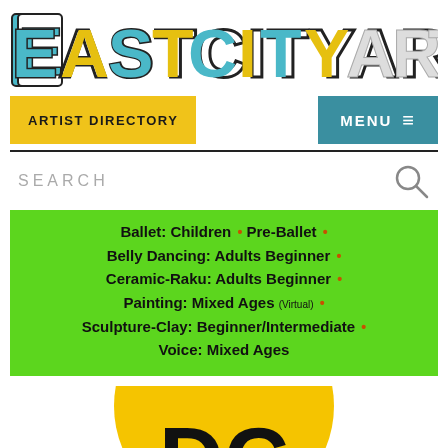[Figure (logo): EastCityArt logo in bold stylized letters with teal/blue and yellow colors]
ARTIST DIRECTORY | MENU
SEARCH
Ballet: Children • Pre-Ballet •
Belly Dancing: Adults Beginner •
Ceramic-Raku: Adults Beginner •
Painting: Mixed Ages (Virtual) •
Sculpture-Clay: Beginner/Intermediate •
Voice: Mixed Ages
[Figure (logo): Partial yellow circle with DC letters visible at bottom of page]